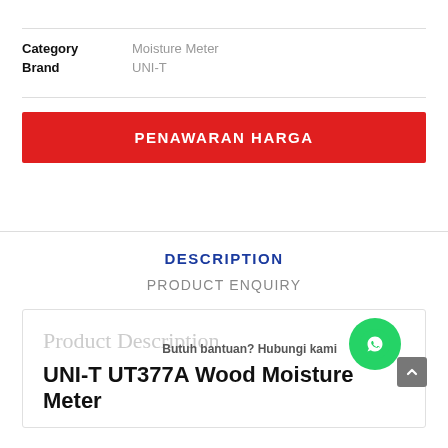Category: Moisture Meter
Brand: UNI-T
PENAWARAN HARGA
DESCRIPTION
PRODUCT ENQUIRY
Product Description
Butuh bantuan? Hubungi kami
UNI-T UT377A Wood Moisture Meter